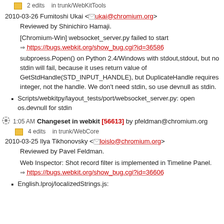2 edits   in trunk/WebKitTools
2010-03-26 Fumitoshi Ukai <ukai@chromium.org>
Reviewed by Shinichiro Hamaji.
[Chromium-Win] websocket_server.py failed to start
https://bugs.webkit.org/show_bug.cgi?id=36586
subproess.Popen() on Python 2.4/Windows with stdout,stdout, but no stdin will fail, because it uses return value of GetStdHandle(STD_INPUT_HANDLE), but DuplicateHandle requires integer, not the handle. We don't need stdin, so use devnull as stdin.
Scripts/webkitpy/layout_tests/port/websocket_server.py: open os.devnull for stdin
1:05 AM  Changeset in webkit [56613] by pfeldman@chromium.org
4 edits   in trunk/WebCore
2010-03-25 Ilya Tikhonovsky <loislo@chromium.org>
Reviewed by Pavel Feldman.
Web Inspector: Shot record filter is implemented in Timeline Panel.
https://bugs.webkit.org/show_bug.cgi?id=36606
English.lproj/localizedStrings.js: